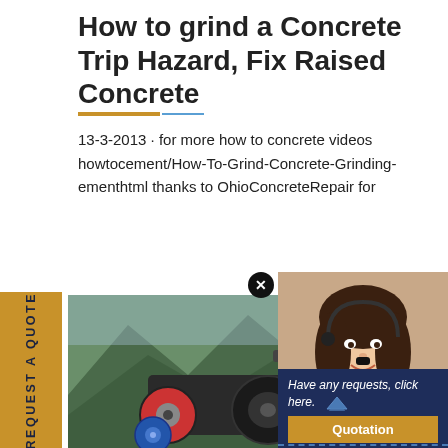How to grind a Concrete Trip Hazard, Fix Raised Concrete
13-3-2013 · for more how to concrete videos howtocement/How-To-Grind-Concrete-Grinding-ementhtml thanks to OhioConcreteRepair for
[Figure (photo): Vertical yellow sidebar banner with 'REQUEST A QUOTE' text rotated 90 degrees]
[Figure (photo): Photo of a concrete grinding machine with red and blue components against a mountainous background]
[Figure (photo): Customer service representative (woman with headset) with a chat popup box. The popup shows a teal circle, a close button (X), text reading 'Have any requests, click here.' with chevrons, and a gold 'Quotation' button]